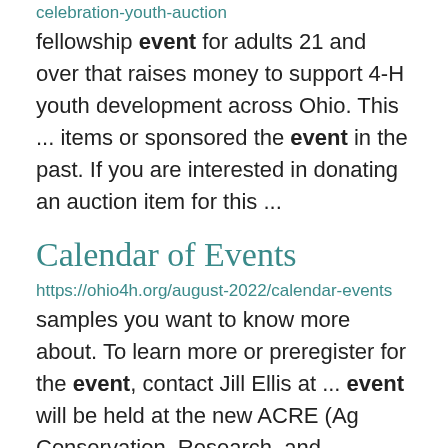celebration-youth-auction
fellowship event for adults 21 and over that raises money to support 4-H youth development across Ohio. This ... items or sponsored the event in the past. If you are interested in donating an auction item for this ...
Calendar of Events
https://ohio4h.org/august-2022/calendar-events
samples you want to know more about. To learn more or preregister for the event, contact Jill Ellis at ... event will be held at the new ACRE (Ag Conservation, Research, and Education) Farm and will address ...